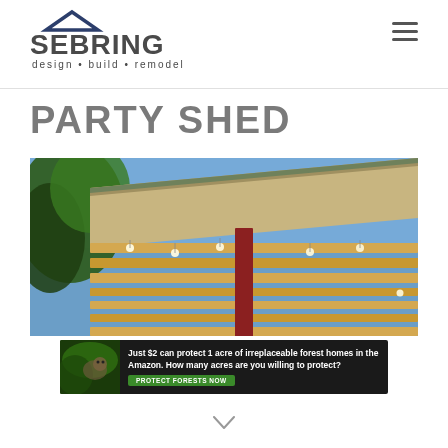[Figure (logo): Sebring Design Build Remodel logo with house icon]
PARTY SHED
[Figure (photo): Close-up photo of a wooden party shed roof structure with string lights, wooden beams, red post, and blue sky background with trees]
[Figure (photo): Advertisement banner: Just $2 can protect 1 acre of irreplaceable forest homes in the Amazon. How many acres are you willing to protect? PROTECT FORESTS NOW]